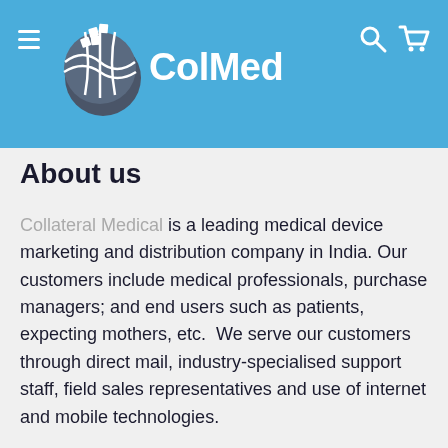[Figure (logo): ColMed logo: a globe icon with white grid lines and the text ColMed in white bold font, on a blue header bar]
About us
Collateral Medical is a leading medical device marketing and distribution company in India. Our customers include medical professionals, purchase managers; and end users such as patients, expecting mothers, etc.  We serve our customers through direct mail, industry-specialised support staff, field sales representatives and use of internet and mobile technologies.
We support medical professionals by providing products and services in an efficient and transparent